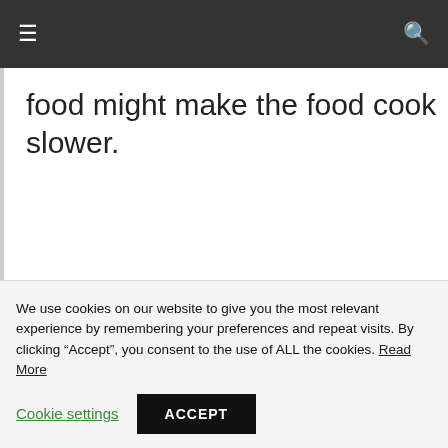≡  🔍
food might make the food cook slower.
[Figure (other): Decorative divider with em-dashes and a question mark circle icon: – ? –]
Do you have to flip food in an
We use cookies on our website to give you the most relevant experience by remembering your preferences and repeat visits. By clicking "Accept", you consent to the use of ALL the cookies. Read More
Cookie settings   ACCEPT